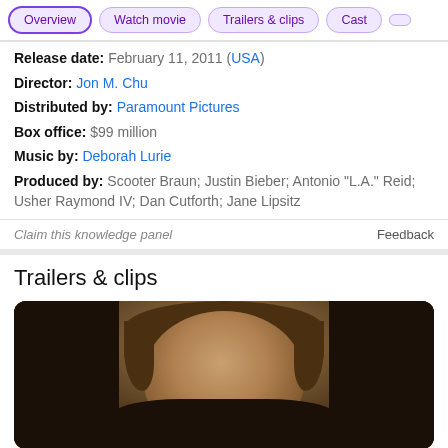Overview | Watch movie | Trailers & clips | Cast
Release date: February 11, 2011 (USA)
Director: Jon M. Chu
Distributed by: Paramount Pictures
Box office: $99 million
Music by: Deborah Lurie
Produced by: Scooter Braun; Justin Bieber; Antonio "L.A." Reid; Usher Raymond IV; Dan Cutforth; Jane Lipsitz
Claim this knowledge panel    Feedback
Trailers & clips
[Figure (photo): Close-up photo of a young person with brown hair against a dark background]